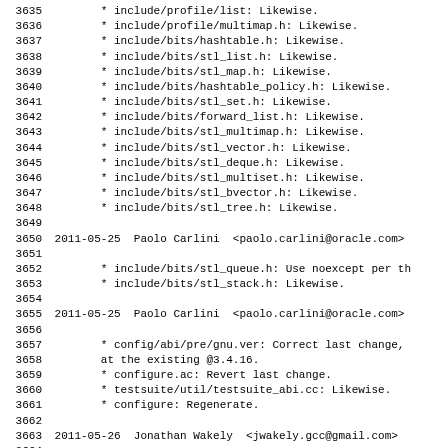Code/changelog listing lines 3635-3666
3635     * include/profile/list: Likewise.
3636     * include/profile/multimap.h: Likewise.
3637     * include/bits/hashtable.h: Likewise.
3638     * include/bits/stl_list.h: Likewise.
3639     * include/bits/stl_map.h: Likewise.
3640     * include/bits/hashtable_policy.h: Likewise.
3641     * include/bits/stl_set.h: Likewise.
3642     * include/bits/forward_list.h: Likewise.
3643     * include/bits/stl_multimap.h: Likewise.
3644     * include/bits/stl_vector.h: Likewise.
3645     * include/bits/stl_deque.h: Likewise.
3646     * include/bits/stl_multiset.h: Likewise.
3647     * include/bits/stl_bvector.h: Likewise.
3648     * include/bits/stl_tree.h: Likewise.
3649
3650 2011-05-25  Paolo Carlini  <paolo.carlini@oracle.com>
3651
3652     * include/bits/stl_queue.h: Use noexcept per th
3653     * include/bits/stl_stack.h: Likewise.
3654
3655 2011-05-25  Paolo Carlini  <paolo.carlini@oracle.com>
3656
3657     * config/abi/pre/gnu.ver: Correct last change,
3658       at the existing @3.4.16.
3659     * configure.ac: Revert last change.
3660     * testsuite/util/testsuite_abi.cc: Likewise.
3661     * configure: Regenerate.
3662
3663 2011-05-26  Jonathan Wakely  <jwakely.gcc@gmail.com>
3664
3665     * doc/xml/manual/documentation_hacking.xml: Min
3666